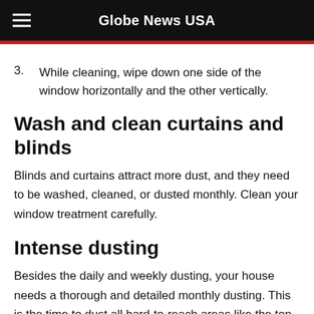Globe News USA
3. While cleaning, wipe down one side of the window horizontally and the other vertically.
Wash and clean curtains and blinds
Blinds and curtains attract more dust, and they need to be washed, cleaned, or dusted monthly. Clean your window treatment carefully.
Intense dusting
Besides the daily and weekly dusting, your house needs a thorough and detailed monthly dusting. This is the time to dust all hard-to-reach areas like the top of cabinets, the fridge, ceiling fans, and baseboards. Don't forget to dust